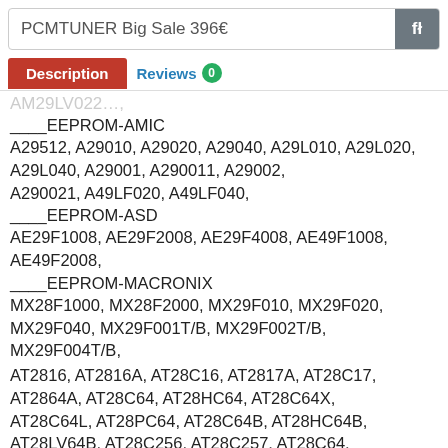PCMTUNER Big Sale 396€
Description | Reviews 0
AM29LV022...
____EEPROM-AMIC
A29512, A29010, A29020, A29040, A29L010, A29L020, A29L040, A29001, A290011, A29002, A290021, A49LF020, A49LF040,
____EEPROM-ASD
AE29F1008, AE29F2008, AE29F4008, AE49F1008, AE49F2008,
____EEPROM-MACRONIX
MX28F1000, MX28F2000, MX29F010, MX29F020, MX29F040, MX29F001T/B, MX29F002T/B, MX29F004T/B,
AT2816, AT2816A, AT28C16, AT2817A, AT28C17, AT2864A, AT28C64, AT28HC64, AT28C64X, AT28C64L, AT28PC64, AT28C64B, AT28HC64B, AT28LV64B, AT28C256, AT28C257, AT28C64,